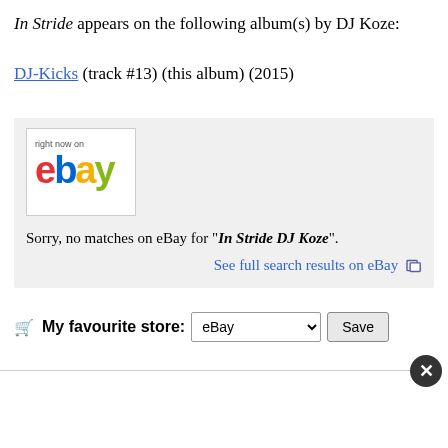In Stride appears on the following album(s) by DJ Koze:
DJ-Kicks (track #13) (this album) (2015)
[Figure (screenshot): eBay 'right now on ebay' logo widget showing no matches for 'In Stride DJ Koze', with a link to see full search results on eBay]
My favourite store: eBay [dropdown] [Save button]